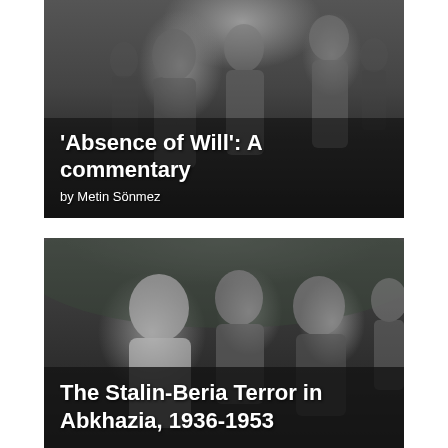[Figure (photo): Black and white photograph showing men in suits walking, with overlay text of book/article title and author. Title reads: 'Absence of Will': A commentary, by Metin Sönmez]
'Absence of Will': A commentary
by Metin Sönmez
[Figure (photo): Black and white photograph showing three men posing together, with overlay text. Title reads: The Stalin-Beria Terror in Abkhazia, 1936-1953]
The Stalin-Beria Terror in Abkhazia, 1936-1953